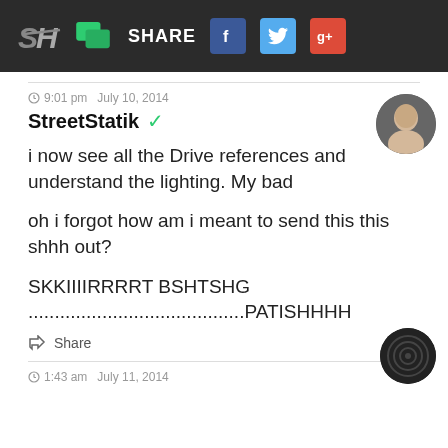SH | [chat icon] SHARE [Facebook] [Twitter] [Google+]
9:01 pm  July 10, 2014
StreetStatik ✓
i now see all the Drive references and understand the lighting. My bad
oh i forgot how am i meant to send this this shhh out?
SKKIIIIRRRRT BSHTSHG
.........................................PATISHHHH
Share
1:43 am  July 11, 2014